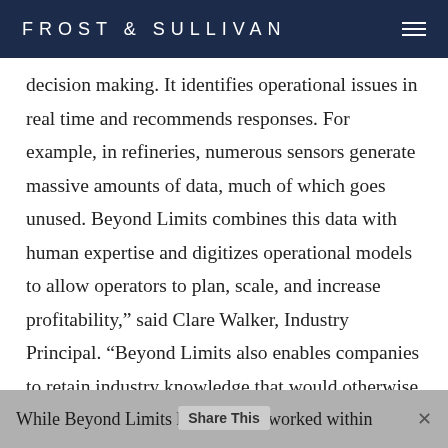FROST & SULLIVAN
decision making. It identifies operational issues in real time and recommends responses. For example, in refineries, numerous sensors generate massive amounts of data, much of which goes unused. Beyond Limits combines this data with human expertise and digitizes operational models to allow operators to plan, scale, and increase profitability,” said Clare Walker, Industry Principal. “Beyond Limits also enables companies to retain industry knowledge that would otherwise be lost when veteran engineers retire. It embeds their domain expertise into systems to make it available to junior engineers.”
While Beyond Limits has worked within